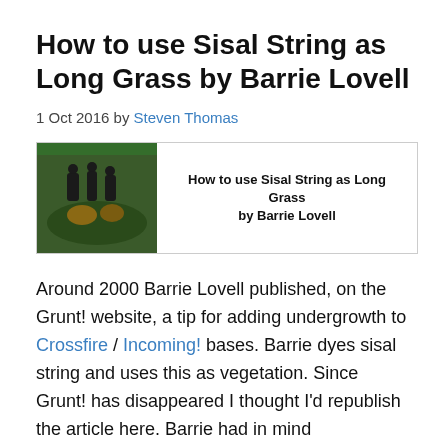How to use Sisal String as Long Grass by Barrie Lovell
1 Oct 2016 by Steven Thomas
[Figure (other): Book cover image showing miniature figures with grass bases, with text 'How to use Sisal String as Long Grass by Barrie Lovell']
Around 2000 Barrie Lovell published, on the Grunt! website, a tip for adding undergrowth to Crossfire / Incoming! bases. Barrie dyes sisal string and uses this as vegetation. Since Grunt! has disappeared I thought I'd republish the article here. Barrie had in mind